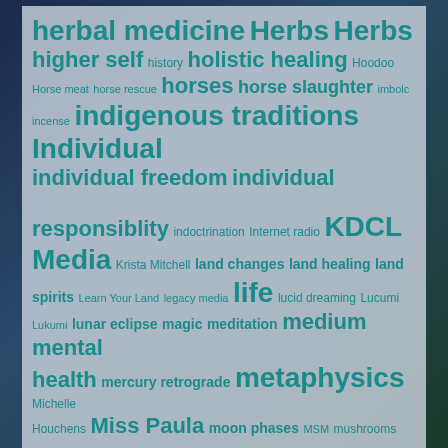[Figure (other): Tag cloud / word cloud with various topics related to spirituality, nature, metaphysics, and alternative media. Words displayed in teal/cyan color on a light gray semi-transparent background, with a dark blue/green starfield or mystical background behind it. Words vary in size indicating frequency/importance.]